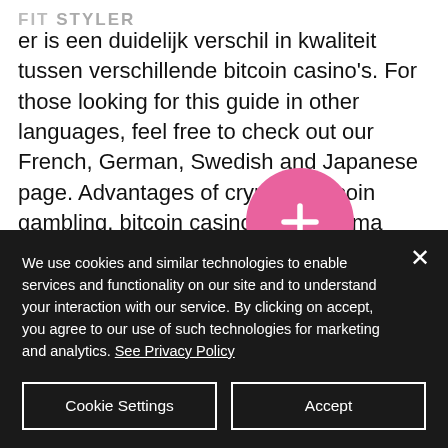FitStyler
er is een duidelijk verschil in kwaliteit tussen verschillende bitcoin casino's. For those looking for this guide in other languages, feel free to check out our French, German, Swedish and Japanese page. Advantages of crypto & bitcoin gambling, bitcoin casino para yatırma bonusu yok code. They offer a wide variety of slot machines many featuring huge progressive jackpots, they also offer all of the popular table games such as blackjack and baccarat. You can play on your mobile device, tablet, or computer,
[Figure (other): Pink circular button with white plus (+) sign overlay on text content]
We use cookies and similar technologies to enable services and functionality on our site and to understand your interaction with our service. By clicking on accept, you agree to our use of such technologies for marketing and analytics. See Privacy Policy
Cookie Settings
Accept